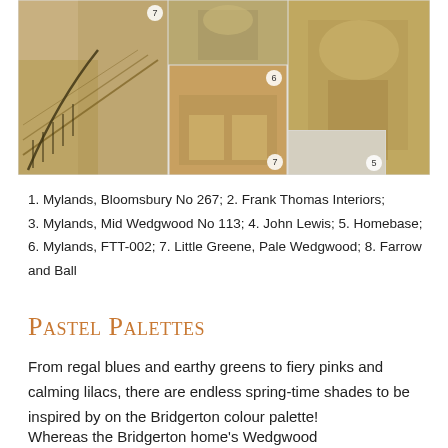[Figure (photo): Collage of interior design and paint images related to Bridgerton colour palette — staircase, bedroom, ornate hall, paint tin, fabric swatch, stone texture — numbered 5, 6, 7, 8]
1. Mylands, Bloomsbury No 267; 2. Frank Thomas Interiors; 3. Mylands, Mid Wedgwood No 113; 4. John Lewis; 5. Homebase; 6. Mylands, FTT-002; 7. Little Greene, Pale Wedgwood; 8. Farrow and Ball
Pastel Palettes
From regal blues and earthy greens to fiery pinks and calming lilacs, there are endless spring-time shades to be inspired by on the Bridgerton colour palette!
Whereas the Bridgerton home's Wedgwood